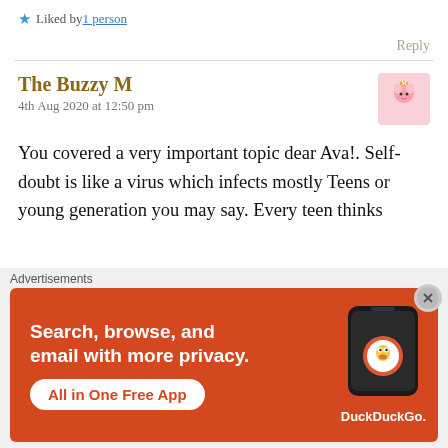Liked by 1 person
Reply
The Buzzy M
4th Aug 2020 at 12:50 pm
You covered a very important topic dear Ava!. Self-doubt is like a virus which infects mostly Teens or young generation you may say. Every teen thinks whether people will like them or not and they start to change
[Figure (screenshot): DuckDuckGo advertisement banner: orange background, text 'Search, browse, and email with more privacy. All in One Free App' with a phone mockup showing DuckDuckGo logo]